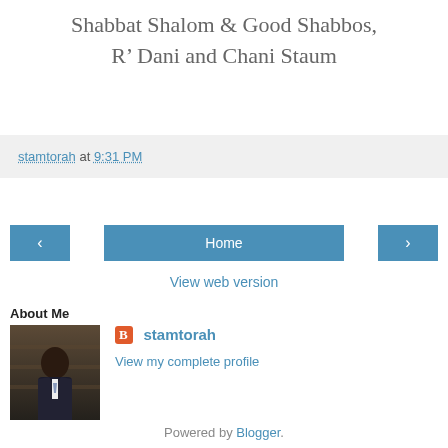Shabbat Shalom & Good Shabbos, R' Dani and Chani Staum
stamtorah at 9:31 PM
‹
Home
›
View web version
About Me
[Figure (photo): Profile photo of a man in a suit in front of bookshelves]
stamtorah
View my complete profile
Powered by Blogger.